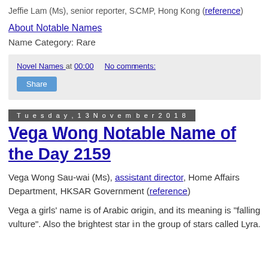Jeffie Lam (Ms), senior reporter, SCMP, Hong Kong (reference)
About Notable Names
Name Category: Rare
Novel Names at 00:00   No comments:
Share
Tuesday, 13 November 2018
Vega Wong Notable Name of the Day 2159
Vega Wong Sau-wai (Ms), assistant director, Home Affairs Department, HKSAR Government (reference)
Vega a girls' name is of Arabic origin, and its meaning is "falling vulture". Also the brightest star in the group of stars called Lyra.